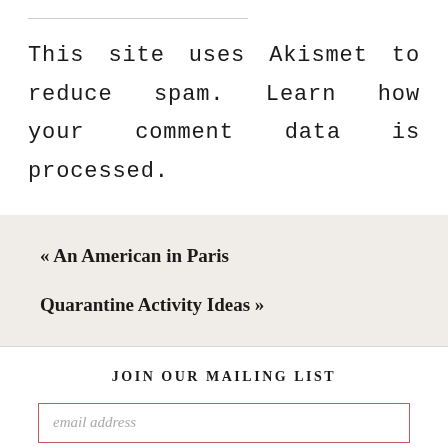This site uses Akismet to reduce spam. Learn how your comment data is processed.
« An American in Paris
Quarantine Activity Ideas »
JOIN OUR MAILING LIST
email address